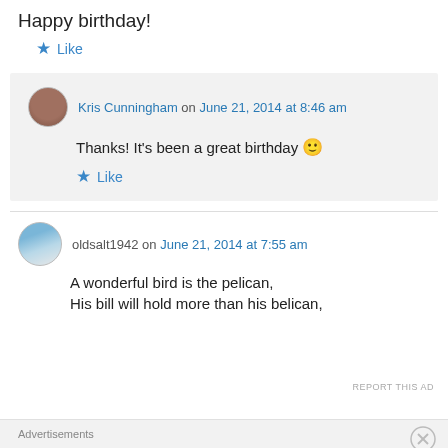Happy birthday!
★ Like
Kris Cunningham on June 21, 2014 at 8:46 am
Thanks! It's been a great birthday 🙂
★ Like
oldsalt1942 on June 21, 2014 at 7:55 am
A wonderful bird is the pelican,
His bill will hold more than his belican,
Advertisements